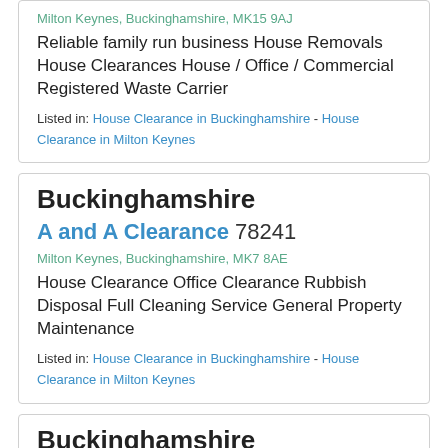Milton Keynes, Buckinghamshire, MK15 9AJ
Reliable family run business House Removals House Clearances House / Office / Commercial Registered Waste Carrier
Listed in: House Clearance in Buckinghamshire - House Clearance in Milton Keynes
Buckinghamshire
A and A Clearance 78241
Milton Keynes, Buckinghamshire, MK7 8AE
House Clearance Office Clearance Rubbish Disposal Full Cleaning Service General Property Maintenance
Listed in: House Clearance in Buckinghamshire - House Clearance in Milton Keynes
Buckinghamshire